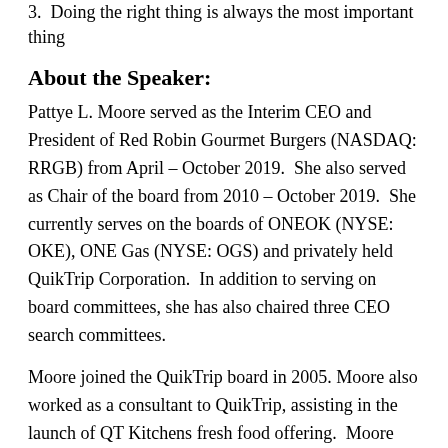3.  Doing the right thing is always the most important thing
About the Speaker:
Pattye L. Moore served as the Interim CEO and President of Red Robin Gourmet Burgers (NASDAQ: RRGB) from April – October 2019.  She also served as Chair of the board from 2010 – October 2019.  She currently serves on the boards of ONEOK (NYSE: OKE), ONE Gas (NYSE: OGS) and privately held QuikTrip Corporation.  In addition to serving on board committees, she has also chaired three CEO search committees.
Moore joined the QuikTrip board in 2005. Moore also worked as a consultant to QuikTrip, assisting in the launch of QT Kitchens fresh food offering.  Moore helped establish a culinary team, R&D processes, consumer research, customer service training, marketing, store and menu design and food safety protocols.
Moore was the president of Sonic Corp. from January 2002 until